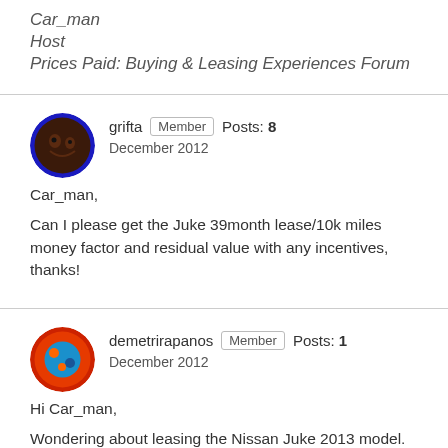Car_man
Host
Prices Paid: Buying & Leasing Experiences Forum
grifta   Member   Posts: 8
December 2012
Car_man,

Can I please get the Juke 39month lease/10k miles money factor and residual value with any incentives, thanks!
demetrirapanos   Member   Posts: 1
December 2012
Hi Car_man,

Wondering about leasing the Nissan Juke 2013 model. There is